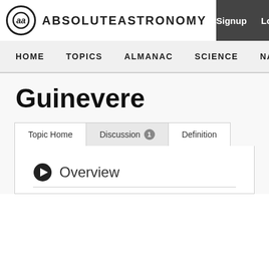ABSOLUTEASTRONOMY | Signup | Login
HOME | TOPICS | ALMANAC | SCIENCE | NATURE | PEOPLE
Guinevere
Topic Home | Discussion 1 | Definition
Overview